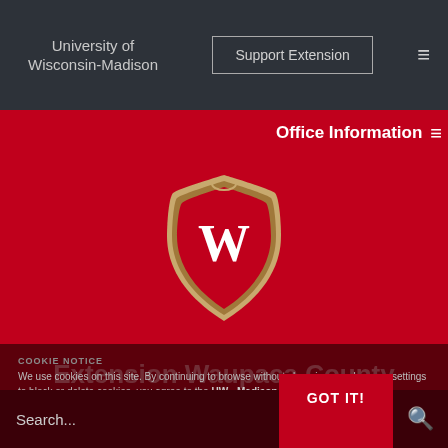University of Wisconsin-Madison
Support Extension
Office Information
[Figure (logo): University of Wisconsin-Madison crest/shield logo with W on red background, surrounded by decorative tan/gold border]
Extension Waupaca County
University of Wisconsin-Madison
COOKIE NOTICE
We use cookies on this site. By continuing to browse without changing your browser settings to block or delete cookies, you agree to the UW - Madison Privacy Notice.
Search...
GOT IT!